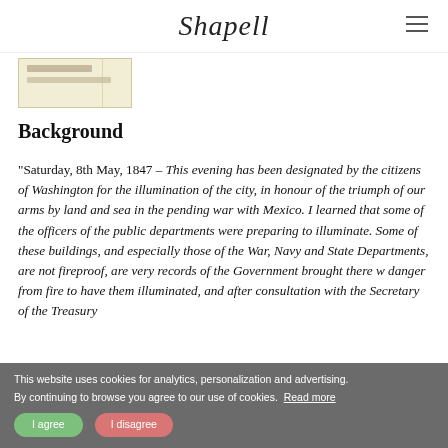Shapell
[Figure (photo): Thumbnail of a historical handwritten document with faded lines on aged paper]
Background
"Saturday, 8th May, 1847 – This evening has been designated by the citizens of Washington for the illumination of the city, in honour of the triumph of our arms by land and sea in the pending war with Mexico. I learned that some of the officers of the public departments were preparing to illuminate. Some of these buildings, and especially those of the War, Navy and State Departments, are not fireproof, are very records of the Government brought there w danger from fire to have them illuminated, and after consultation with the Secretary of the Treasury
This website uses cookies for analytics, personalization and advertising. By continuing to browse you agree to our use of cookies. Read more